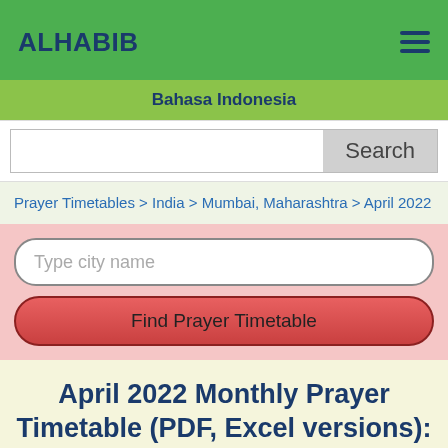ALHABIB
Bahasa Indonesia
Search
Prayer Timetables > India > Mumbai, Maharashtra > April 2022
Type city name
Find Prayer Timetable
April 2022 Monthly Prayer Timetable (PDF, Excel versions): Mumbai, Maharashtra, India